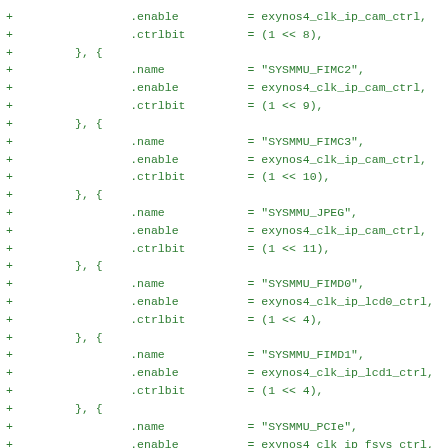+                 .enable          = exynos4_clk_ip_cam_ctrl,
+                 .ctrlbit         = (1 << 8),
+         }, {
+                 .name            = "SYSMMU_FIMC2",
+                 .enable          = exynos4_clk_ip_cam_ctrl,
+                 .ctrlbit         = (1 << 9),
+         }, {
+                 .name            = "SYSMMU_FIMC3",
+                 .enable          = exynos4_clk_ip_cam_ctrl,
+                 .ctrlbit         = (1 << 10),
+         }, {
+                 .name            = "SYSMMU_JPEG",
+                 .enable          = exynos4_clk_ip_cam_ctrl,
+                 .ctrlbit         = (1 << 11),
+         }, {
+                 .name            = "SYSMMU_FIMD0",
+                 .enable          = exynos4_clk_ip_lcd0_ctrl,
+                 .ctrlbit         = (1 << 4),
+         }, {
+                 .name            = "SYSMMU_FIMD1",
+                 .enable          = exynos4_clk_ip_lcd1_ctrl,
+                 .ctrlbit         = (1 << 4),
+         }, {
+                 .name            = "SYSMMU_PCIe",
+                 .enable          = exynos4_clk_ip_fsys_ctrl,